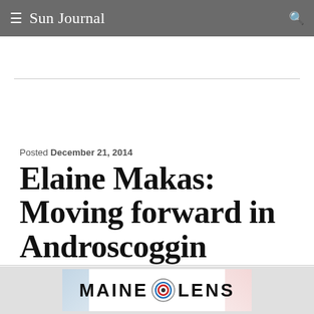≡ Sun Journal
Posted December 21, 2014
Elaine Makas: Moving forward in Androscoggin County
BY ELAINE MAKAS
[Figure (logo): Maine Lens advertisement banner with circular lens logo graphic]